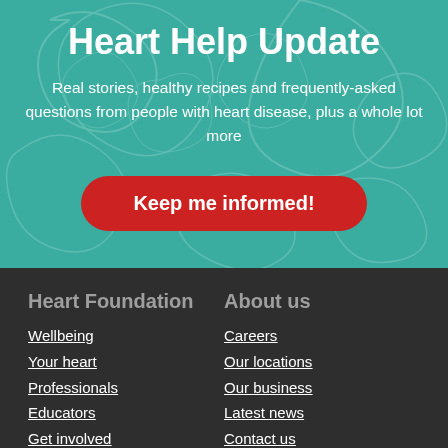Heart Help Update
Real stories, healthy recipes and frequently-asked questions from people with heart disease, plus a whole lot more
Keep me informed!
Heart Foundation
About us
Wellbeing
Your heart
Professionals
Educators
Get involved
About us
Careers
Our locations
Our business
Latest news
Contact us
Our partners and supporters